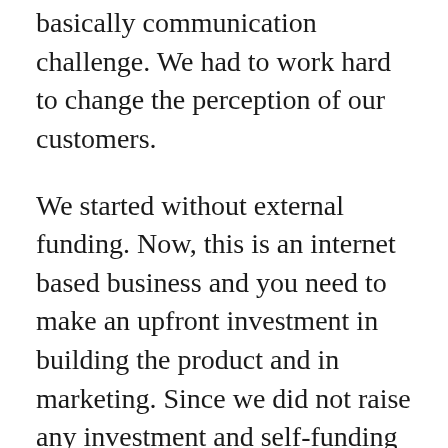basically communication challenge. We had to work hard to change the perception of our customers.
We started without external funding. Now, this is an internet based business and you need to make an upfront investment in building the product and in marketing. Since we did not raise any investment and self-funding the company, we had to optimize in every step of the process. I was doing the work of four persons every day. That has been a huge challenge.